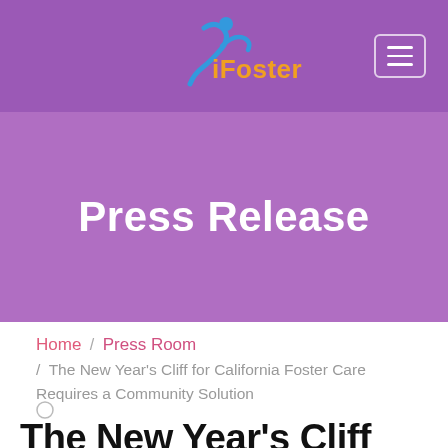[Figure (logo): iFoster logo with blue swoosh figure and orange 'iFoster' text on purple background]
Press Release
Home / Press Room / The New Year's Cliff for California Foster Care Requires a Community Solution
The New Year's Cliff for